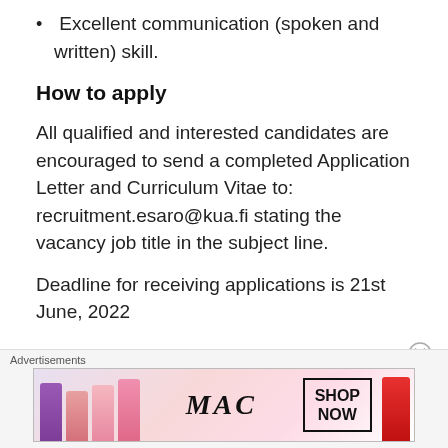Excellent communication (spoken and written) skill.
How to apply
All qualified and interested candidates are encouraged to send a completed Application Letter and Curriculum Vitae to: recruitment.esaro@kua.fi stating the vacancy job title in the subject line.
Deadline for receiving applications is 21st June, 2022
Advertisements
[Figure (illustration): MAC cosmetics advertisement banner showing lipsticks and MAC logo with SHOP NOW button]